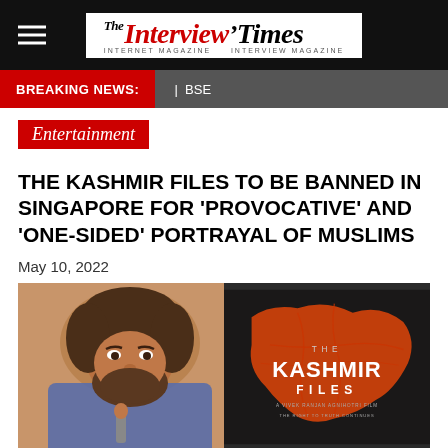The Interview Times
BREAKING NEWS: | BSE
Entertainment
THE KASHMIR FILES TO BE BANNED IN SINGAPORE FOR 'PROVOCATIVE' AND 'ONE-SIDED' PORTRAYAL OF MUSLIMS
May 10, 2022
[Figure (photo): Left: A bearded man speaking at a microphone. Right: The Kashmir Files movie poster showing an orange map of Kashmir on a dark background with the text 'THE KASHMIR FILES'.]